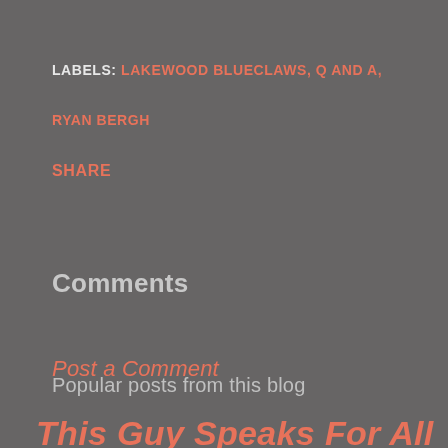LABELS: LAKEWOOD BLUECLAWS, Q AND A,
RYAN BERGH
SHARE
Comments
Post a Comment
Popular posts from this blog
This Guy Speaks For All of You